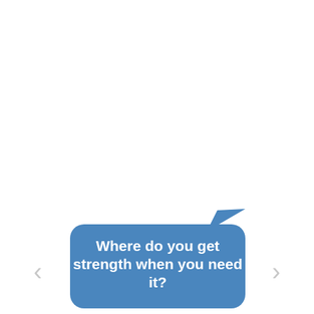[Figure (illustration): A blue speech bubble with rounded corners and a tail pointing upward-right, containing white bold text: 'Where do you get strength when you need it?' Navigation arrows (< and >) appear on the left and right sides outside the bubble.]